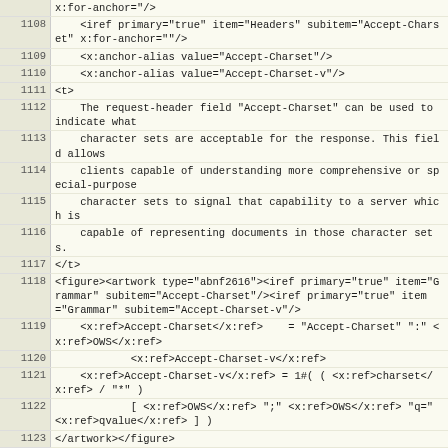| line | code |
| --- | --- |
|  | x:for-anchor=""/> |
| 1108 |     <iref primary="true" item="Headers" subitem="Accept-Charset" x:for-anchor=""/> |
| 1109 |     <x:anchor-alias value="Accept-Charset"/> |
| 1110 |     <x:anchor-alias value="Accept-Charset-v"/> |
| 1111 | <t> |
| 1112 |     The request-header field "Accept-Charset" can be used to indicate what |
| 1113 |     character sets are acceptable for the response. This field allows |
| 1114 |     clients capable of understanding more comprehensive or special-purpose |
| 1115 |     character sets to signal that capability to a server which is |
| 1116 |     capable of representing documents in those character sets. |
| 1117 | </t> |
| 1118 | <figure><artwork type="abnf2616"><iref primary="true" item="Grammar" subitem="Accept-Charset"/><iref primary="true" item="Grammar" subitem="Accept-Charset-v"/> |
| 1119 |     <x:ref>Accept-Charset</x:ref>    = "Accept-Charset" ":" <x:ref>OWS</x:ref> |
| 1120 |             <x:ref>Accept-Charset-v</x:ref> |
| 1121 |     <x:ref>Accept-Charset-v</x:ref> = 1#( ( <x:ref>charset</x:ref> / "*" ) |
| 1122 |             [ <x:ref>OWS</x:ref> ";" <x:ref>OWS</x:ref> "q=" <x:ref>qvalue</x:ref> ] ) |
| 1123 | </artwork></figure> |
| 1124 | <t> |
| 1125 |     Character set values are described in <xref target="character.sets"/>. Each charset &MAY; |
| 1126 |     be given an associated quality value which represents the user's |